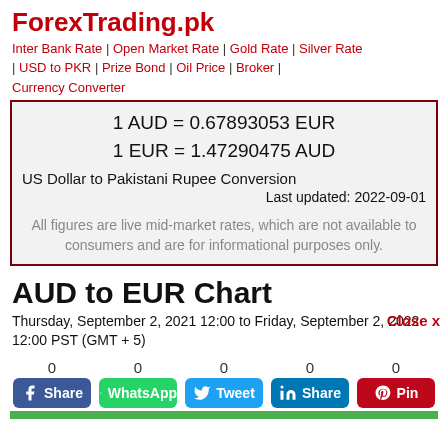ForexTrading.pk
Inter Bank Rate | Open Market Rate | Gold Rate | Silver Rate | USD to PKR | Prize Bond | Oil Price | Broker | Currency Converter
1 AUD = 0.67893053 EUR
1 EUR = 1.47290475 AUD
US Dollar to Pakistani Rupee Conversion
Last updated: 2022-09-01
All figures are live mid-market rates, which are not available to consumers and are for informational purposes only.
AUD to EUR Chart
Thursday, September 2, 2021 12:00 to Friday, September 2, 2022 12:00 PST (GMT + 5)
Close x
0  Share  |  0  WhatsApp  |  0  Tweet  |  0  Share  |  0  Pin